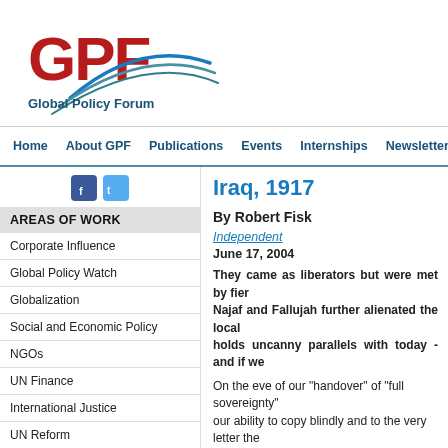[Figure (logo): GPF Global Policy Forum logo with red GPF text and teal swoosh arcs]
Home | About GPF | Publications | Events | Internships | Newsletter
[Figure (logo): Facebook and Twitter social media icons]
AREAS OF WORK
Corporate Influence
Global Policy Watch
Globalization
Social and Economic Policy
NGOs
UN Finance
International Justice
UN Reform
Iraq, 1917
By Robert Fisk
Independent
June 17, 2004
They came as liberators but were met by fierce resistance. Battles in Najaf and Fallujah further alienated the local population. Iraq 1917 holds uncanny parallels with today - and if we
On the eve of our "handover" of "full sovereignty" our ability to copy blindly and to the very letter the we are doomed to repeat it. For Iraq 1917, read Ira
Yes, we are preparing to give "full sovereignty" to looking glass of history, and see what America and
Our story begins in March 1917 as 33 years old...